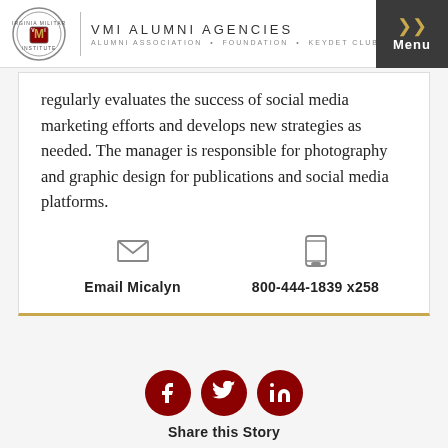VMI ALUMNI AGENCIES — ALUMNI ASSOCIATION · FOUNDATION · KEYDET CLUB
regularly evaluates the success of social media marketing efforts and develops new strategies as needed. The manager is responsible for photography and graphic design for publications and social media platforms.
Email Micalyn    800-444-1839 x258
[Figure (infographic): Social media share icons: Facebook, Twitter, LinkedIn]
Share this Story